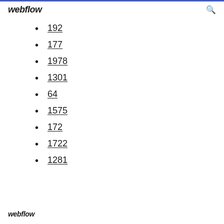webflow
192
177
1978
1301
64
1575
172
1722
1281
webflow